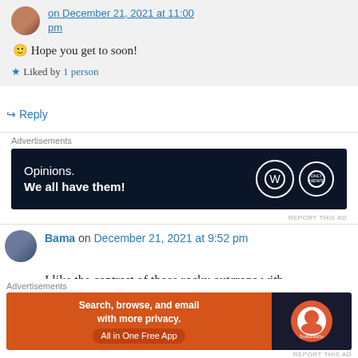[Figure (photo): Avatar thumbnail of commenter at top]
Hope you get to soon!
Liked by 1 person
Reply
Advertisements
[Figure (screenshot): WordPress advertisement banner: Opinions. We all have them!]
REPORT THIS AD
[Figure (photo): Avatar thumbnail of commenter Bama]
Bama on December 21, 2021 at 9:52 pm
I like the contrast of those rocky outcrops with the lush pine forest above them. I agree with you
Advertisements
[Figure (screenshot): DuckDuckGo advertisement: Search, browse, and email with more privacy. All in One Free App]
REPORT THIS AD